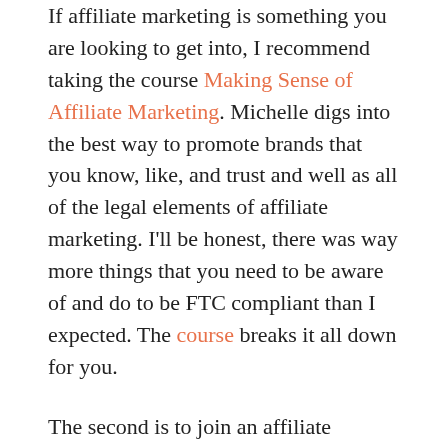If affiliate marketing is something you are looking to get into, I recommend taking the course Making Sense of Affiliate Marketing. Michelle digs into the best way to promote brands that you know, like, and trust and well as all of the legal elements of affiliate marketing. I'll be honest, there was way more things that you need to be aware of and do to be FTC compliant than I expected. The course breaks it all down for you.
The second is to join an affiliate network, I have two main ones that I go through Aragon Premium and Flex Offers. These two networks offer thousands of brands combined that you can work